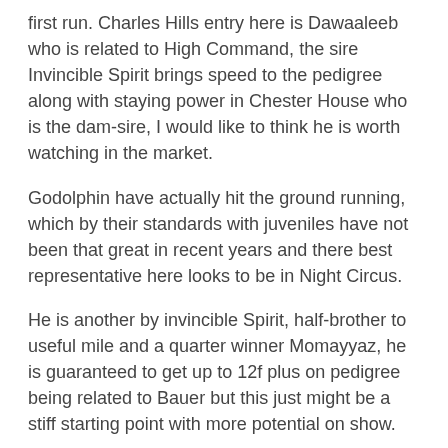first run. Charles Hills entry here is Dawaaleeb who is related to High Command, the sire Invincible Spirit brings speed to the pedigree along with staying power in Chester House who is the dam-sire, I would like to think he is worth watching in the market.
Godolphin have actually hit the ground running, which by their standards with juveniles have not been that great in recent years and there best representative here looks to be in Night Circus.
He is another by invincible Spirit, half-brother to useful mile and a quarter winner Momayyaz, he is guaranteed to get up to 12f plus on pedigree being related to Bauer but this just might be a stiff starting point with more potential on show.
Another trainer in form is Richard Hannon who has booked the cheeky Italian to ride his daughter of Canford Cliffs. Jalela is well related to winners, but to suggest she can